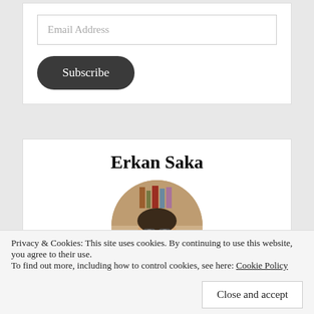Email Address
Subscribe
Erkan Saka
[Figure (photo): Circular profile photo of Erkan Saka, a man with beard and glasses, in a light jacket, seated in front of a bookshelf]
Privacy & Cookies: This site uses cookies. By continuing to use this website, you agree to their use.
To find out more, including how to control cookies, see here: Cookie Policy
Close and accept